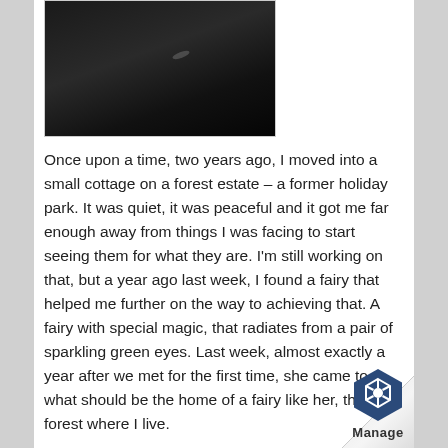[Figure (photo): Dark photo — appears to be a low-light image of an object, mostly black with slight highlights]
Once upon a time, two years ago, I moved into a small cottage on a forest estate – a former holiday park. It was quiet, it was peaceful and it got me far enough away from things I was facing to start seeing them for what they are. I'm still working on that, but a year ago last week, I found a fairy that helped me further on the way to achieving that. A fairy with special magic, that radiates from a pair of sparkling green eyes. Last week, almost exactly a year after we met for the first time, she came to what should be the home of a fairy like her, the forest where I live.
That was a wonderful experience, full of surprise. Who would have thought that fairies know tricks to light a fire more efficiently, without using magic? And who would have thought fairies would feel so at home in a house of men, a completely different species?
[Figure (logo): Manage logo — dark blue hexagon shape with white geometric inner design, with the word 'Manage' below it]